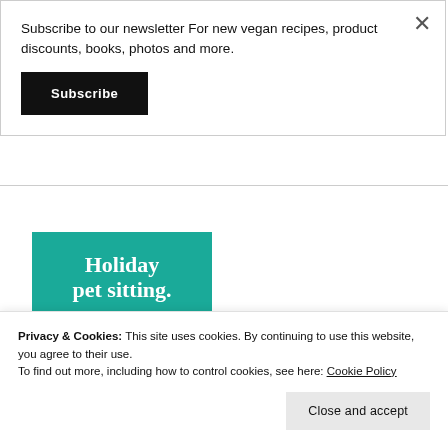Subscribe to our newsletter For new vegan recipes, product discounts, books, photos and more.
Subscribe
[Figure (illustration): Teal/green block with white serif text reading 'Holiday pet sitting.']
Privacy & Cookies: This site uses cookies. By continuing to use this website, you agree to their use.
To find out more, including how to control cookies, see here: Cookie Policy
Close and accept